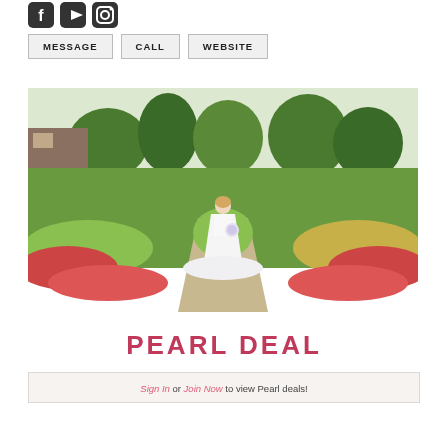[Figure (logo): Social media icons: Facebook, YouTube, Instagram]
MESSAGE   CALL   WEBSITE
[Figure (photo): Bride in white wedding dress standing in a lush garden with colorful flowers, holding a bouquet]
PEARL DEAL
Sign In or Join Now to view Pearl deals!